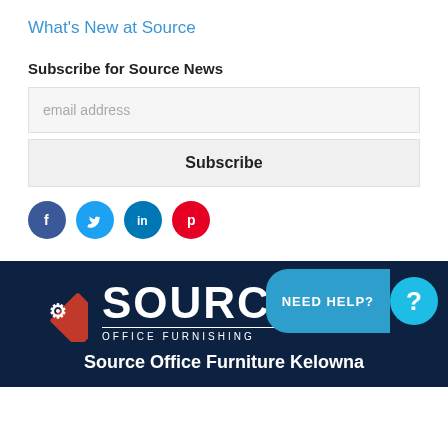What's New at Source
Subscribe for Source News
email address
Subscribe
[Figure (illustration): Social media icons: Facebook (dark blue circle), Twitter (light blue circle), LinkedIn (blue circle), Pinterest (red circle)]
[Figure (logo): Source Office Furnishings logo: red diamond with white chair icon, large white SOURCE text, OFFICE FURNISHINGS subtitle in white, on dark navy background]
Source Office Furniture Kelowna
[Figure (infographic): Need Help? button: teal rounded rectangle with NEED HELP? text and circular question mark button]